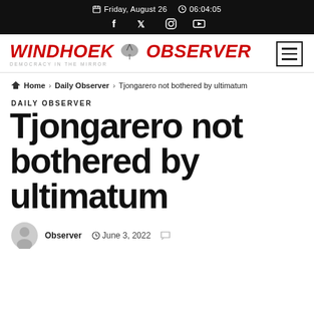Friday, August 26  06:04:05
[Figure (logo): Windhoek Observer newspaper logo with tagline 'Democracy in the Mirror']
Home > Daily Observer > Tjongarero not bothered by ultimatum
DAILY OBSERVER
Tjongarero not bothered by ultimatum
Observer  June 3, 2022